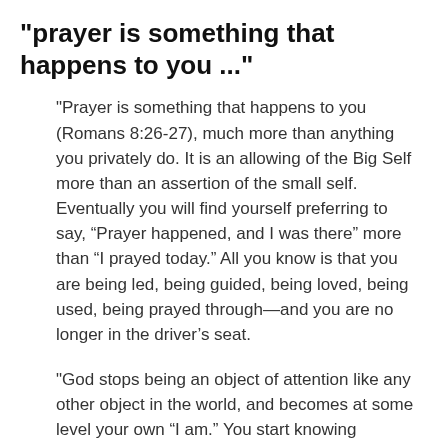"prayer is something that happens to you ..."
"Prayer is something that happens to you (Romans 8:26-27), much more than anything you privately do. It is an allowing of the Big Self more than an assertion of the small self. Eventually you will find yourself preferring to say, “Prayer happened, and I was there” more than “I prayed today.” All you know is that you are being led, being guided, being loved, being used, being prayed through—and you are no longer in the driver’s seat.
"God stops being an object of attention like any other object in the world, and becomes at some level your own “I am.” You start knowing through, with, and in Somebody Else. Your little “I Am” becomes “We Are.” Please trust me on this. It might be the most important thing I could tell you."